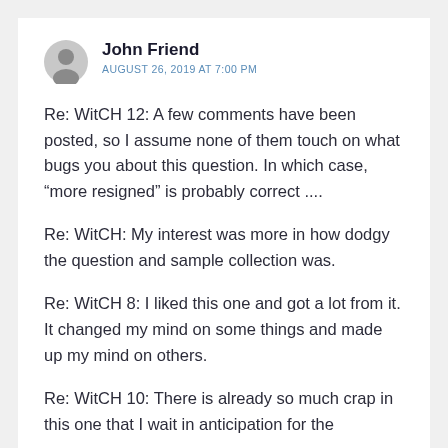John Friend
AUGUST 26, 2019 AT 7:00 PM
Re: WitCH 12: A few comments have been posted, so I assume none of them touch on what bugs you about this question. In which case, “more resigned” is probably correct ....
Re: WitCH: My interest was more in how dodgy the question and sample collection was.
Re: WitCH 8: I liked this one and got a lot from it. It changed my mind on some things and made up my mind on others.
Re: WitCH 10: There is already so much crap in this one that I wait in anticipation for the